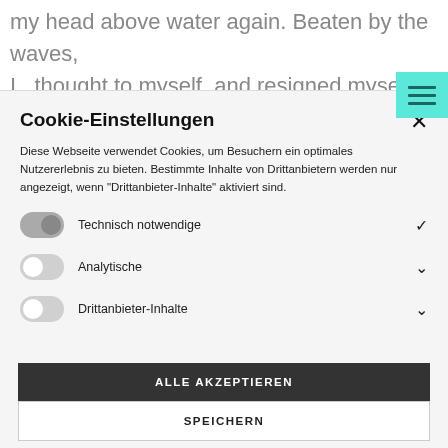my head above water again. Beaten by the waves, I  thought to myself, and resigned myself to m
[Figure (screenshot): Hamburger menu icon button with teal/turquoise background in top right corner]
Cookie-Einstellungen
Diese Webseite verwendet Cookies, um Besuchern ein optimales Nutzererlebnis zu bieten. Bestimmte Inhalte von Drittanbietern werden nur angezeigt, wenn "Drittanbieter-Inhalte" aktiviert sind.
Technisch notwendige
Analytische
Drittanbieter-Inhalte
ALLE AKZEPTIEREN
SPEICHERN